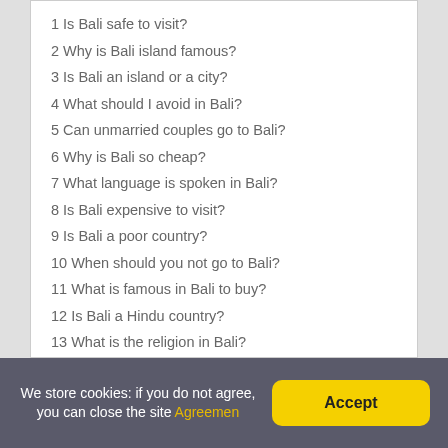1 Is Bali safe to visit?
2 Why is Bali island famous?
3 Is Bali an island or a city?
4 What should I avoid in Bali?
5 Can unmarried couples go to Bali?
6 Why is Bali so cheap?
7 What language is spoken in Bali?
8 Is Bali expensive to visit?
9 Is Bali a poor country?
10 When should you not go to Bali?
11 What is famous in Bali to buy?
12 Is Bali a Hindu country?
13 What is the religion in Bali?
14 What is the best month to go to Bali?
We store cookies: if you do not agree, you can close the site Agreement